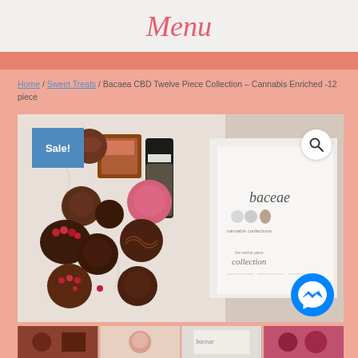Menu
Home / Sweet Treats / Bacaea CBD Twelve Piece Collection – Cannabis Enriched -12 piece
[Figure (photo): Product photo showing assorted Bacaea CBD chocolate confections arranged on a marble surface, with a Baceae cannabis confections box/brochure visible on the right side. A blue sale badge is in the top-left corner, a search icon in the top-right corner, and a Facebook Messenger icon in the bottom-right area.]